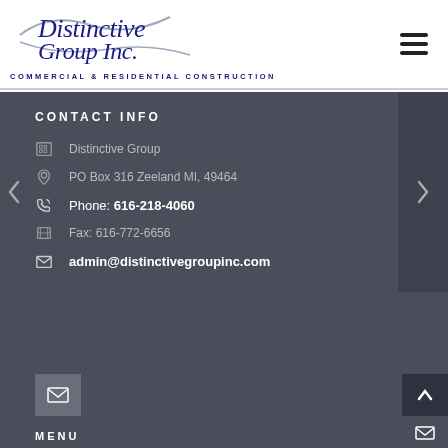[Figure (logo): Distinctive Group Inc. logo with cursive text and tagline 'COMMERCIAL & RESIDENTIAL CONSTRUCTION']
CONTACT INFO
Distinctive Group
PO Box 316 Zeeland MI, 49464
Phone: 616-218-4060
Fax: 616-772-6656
admin@distinctivegroupinc.com
MENU